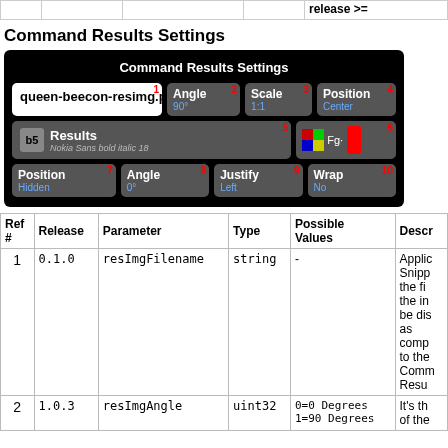|  |  |  |  | release >= |
| --- | --- | --- | --- | --- |
|   |   |   |   | release >= |
Command Results Settings
[Figure (screenshot): Screenshot of Command Results Settings UI panel showing buttons for Angle (90°), Scale (1:1), Position (Center), Results (Nokia Sans bold italic 18), Fg, Position (Hidden), Angle (0°), Justify (Left), Wrap (No) with numbered badges 1-10]
| Ref # | Release | Parameter | Type | Possible Values | Descr |
| --- | --- | --- | --- | --- | --- |
| 1 | 0.1.0 | resImgFilename | string | - | Applic Snipp the fi the in be dis as comp to the Comm Resu |
| 2 | 1.0.3 | resImgAngle | uint32 | 0=0 Degrees
1=90 Degrees | It's th of the |